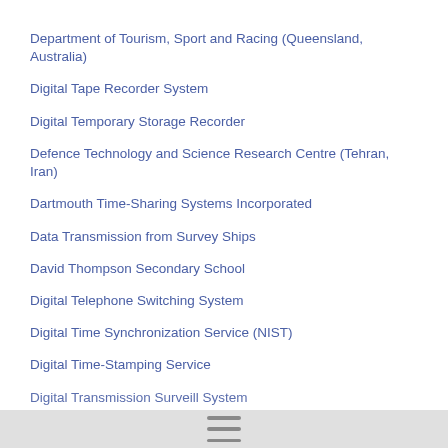Department of Tourism, Sport and Racing (Queensland, Australia)
Digital Tape Recorder System
Digital Temporary Storage Recorder
Defence Technology and Science Research Centre (Tehran, Iran)
Dartmouth Time-Sharing Systems Incorporated
Data Transmission from Survey Ships
David Thompson Secondary School
Digital Telephone Switching System
Digital Time Synchronization Service (NIST)
Digital Time-Stamping Service
Digital Transmission Surveill… System